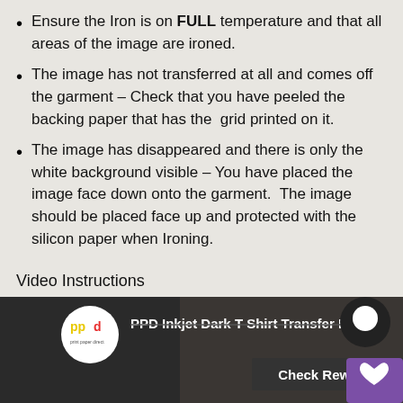Ensure the Iron is on FULL temperature and that all areas of the image are ironed.
The image has not transferred at all and comes off the garment – Check that you have peeled the backing paper that has the grid printed on it.
The image has disappeared and there is only the white background visible – You have placed the image face down onto the garment.  The image should be placed face up and protected with the silicon paper when Ironing.
Video Instructions
[Figure (screenshot): Video thumbnail showing PPD Inkjet Dark T Shirt Transfer Pa... with PPD logo and Check Rewards button overlay, and a chat/rewards widget in bottom right corner.]